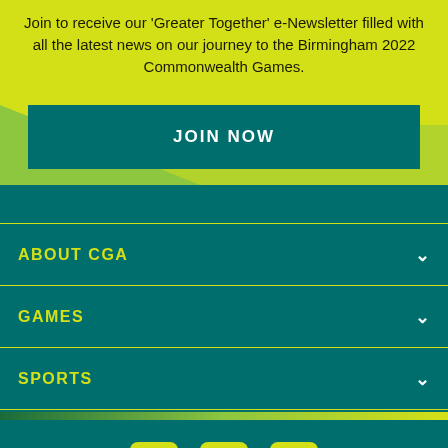Join to receive our 'Greater Together' e-Newsletter filled with all the latest news on our journey to the Birmingham 2022 Commonwealth Games.
JOIN NOW
ABOUT CGA
GAMES
SPORTS
[Figure (other): Social media icons: Facebook, Twitter, Instagram in yellow rounded square boxes]
CONTACT US | PRIVACY POLICY